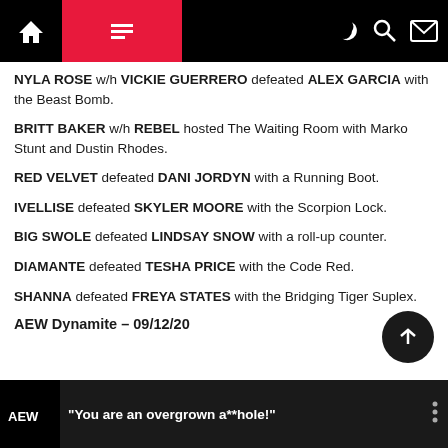Navigation bar with home, menu, moon, search, mail icons
NYLA ROSE w/h VICKIE GUERRERO defeated ALEX GARCIA with the Beast Bomb.
BRITT BAKER w/h REBEL hosted The Waiting Room with Marko Stunt and Dustin Rhodes.
RED VELVET defeated DANI JORDYN with a Running Boot.
IVELLISE defeated SKYLER MOORE with the Scorpion Lock.
BIG SWOLE defeated LINDSAY SNOW with a roll-up counter.
DIAMANTE defeated TESHA PRICE with the Code Red.
SHANNA defeated FREYA STATES with the Bridging Tiger Suplex.
AEW Dynamite – 09/12/20
[Figure (screenshot): Video thumbnail showing AEW logo and text: You are an overgrown a**hole!]